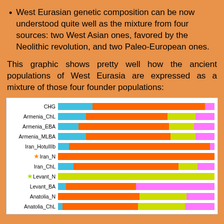West Eurasian genetic composition can be now understood quite well as the mixture from four sources: two West Asian ones, favored by the Neolithic revolution, and two Paleo-European ones.
This graphic shows pretty well how the ancient populations of West Eurasia are expressed as a mixture of those four founder populations:
[Figure (stacked-bar-chart): ]